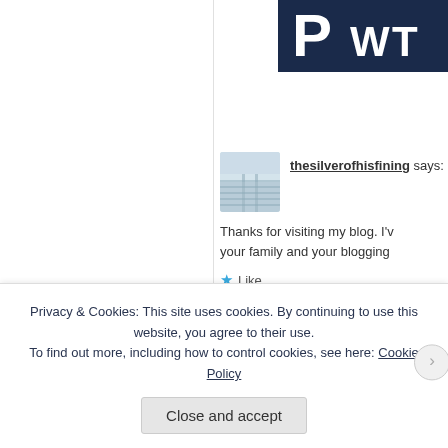[Figure (screenshot): Blog comment thread screenshot showing two comments (thesilverofhisfining and patchingcracks) with a cookie consent banner overlay at the bottom.]